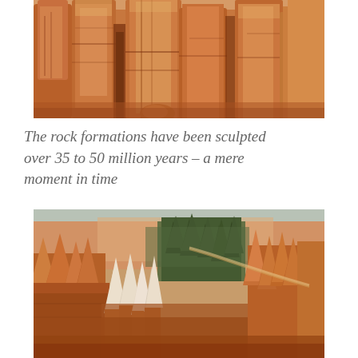[Figure (photo): Close-up photograph of tall orange-red sandstone rock formations (hoodoos) at Bryce Canyon, showing layered vertical columns of eroded rock with warm tones of orange, red, and tan against a light background.]
The rock formations have been sculpted over 35 to 50 million years – a mere moment in time
[Figure (photo): Aerial/overlook photograph of Bryce Canyon National Park showing a canyon filled with white and orange hoodoo spires, with green conifer trees (pines/firs) growing among the formations, and winding trails visible in the distance.]